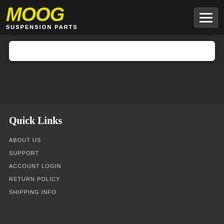[Figure (logo): MOOG Suspension Parts logo with yellow italic text on dark background]
[Figure (other): Hamburger menu icon button]
[Figure (other): Search bar input box, white rounded rectangle]
Quick Links
ABOUT US
SUPPORT
ACCOUNT LOGIN
RETURN POLICY
SHIPPING INFO